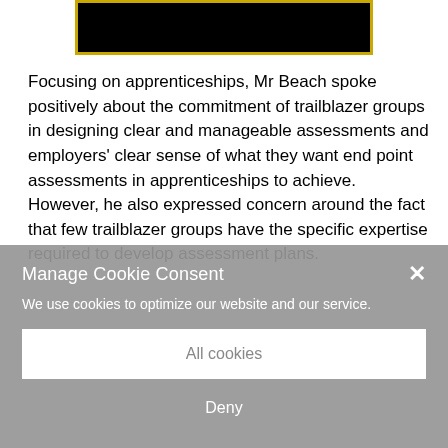[Figure (photo): Black image block with gold/yellow border at the top of the page]
Focusing on apprenticeships, Mr Beach spoke positively about the commitment of trailblazer groups in designing clear and manageable assessments and employers' clear sense of what they want end point assessments in apprenticeships to achieve. However, he also expressed concern around the fact that few trailblazer groups have the specific expertise required to develop assessment plans.
Manage Cookie Consent
We use cookies to optimize our website and our service.
All cookies
Deny